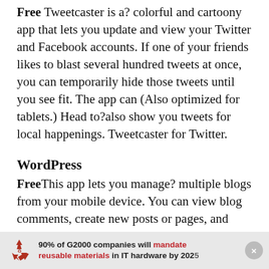Free Tweetcaster is a? colorful and cartoony app that lets you update and view your Twitter and Facebook accounts. If one of your friends likes to blast several hundred tweets at once, you can temporarily hide those tweets until you see fit. The app can (Also optimized for tablets.) Head to?also show you tweets for local happenings. Tweetcaster for Twitter.
WordPress
FreeThis app lets you manage? multiple blogs from your mobile device. You can view blog comments, create new posts or pages, and even get stats on visitor numbers. The app is especially Head to?handy if you run several websites and need to check on them. WordPress
90% of G2000 companies will mandate reusable materials in IT hardware by 2025